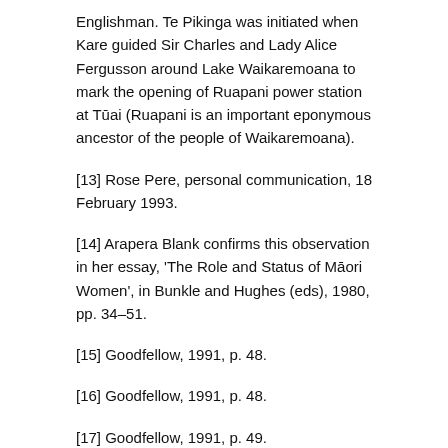Englishman. Te Pikinga was initiated when Kare guided Sir Charles and Lady Alice Fergusson around Lake Waikaremoana to mark the opening of Ruapani power station at Tūai (Ruapani is an important eponymous ancestor of the people of Waikaremoana).
[13] Rose Pere, personal communication, 18 February 1993.
[14] Arapera Blank confirms this observation in her essay, 'The Role and Status of Māori Women', in Bunkle and Hughes (eds), 1980, pp. 34–51.
[15] Goodfellow, 1991, p. 48.
[16] Goodfellow, 1991, p. 48.
[17] Goodfellow, 1991, p. 49.
[18] New Zealand Official Year-Book, 1950, p. 781.
[19] Pool, 1991, p. 133.